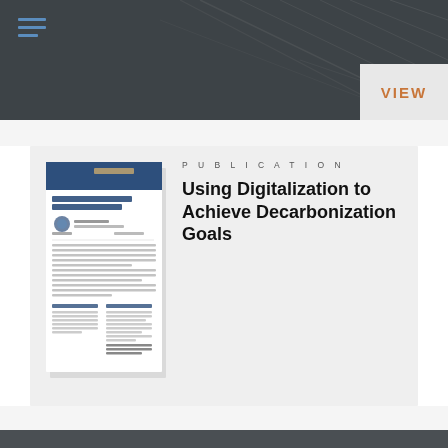[Figure (illustration): Dark gray top banner with subtle diagonal texture lines and a light gray 'VIEW' button box in the bottom-right corner. A hamburger/menu icon with blue lines is in the top-left.]
[Figure (photo): Thumbnail of a publication document titled 'Using Digitalization to Achieve Decarbonization Goals' with a blue header and body text visible.]
PUBLICATION
Using Digitalization to Achieve Decarbonization Goals